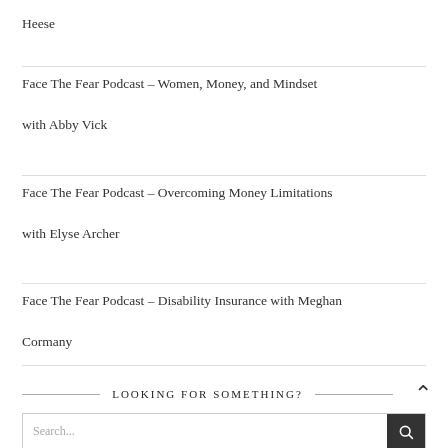Heese
Face The Fear Podcast – Women, Money, and Mindset with Abby Vick
Face The Fear Podcast – Overcoming Money Limitations with Elyse Archer
Face The Fear Podcast – Disability Insurance with Meghan Cormany
LOOKING FOR SOMETHING?